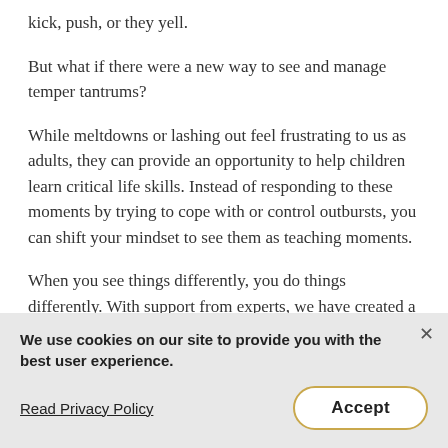kick, push, or they yell.
But what if there were a new way to see and manage temper tantrums?
While meltdowns or lashing out feel frustrating to us as adults, they can provide an opportunity to help children learn critical life skills. Instead of responding to these moments by trying to cope with or control outbursts, you can shift your mindset to see them as teaching moments.
When you see things differently, you do things differently. With support from experts, we have created a series of tools to help you do just that.
We use cookies on our site to provide you with the best user experience.
Read Privacy Policy
Accept